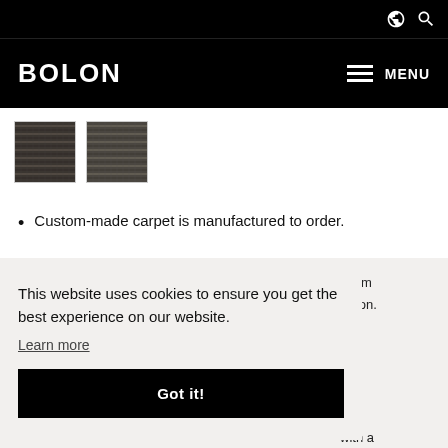BOLON — MENU (navigation bar with globe and search icons)
[Figure (photo): Two fabric/carpet texture thumbnail swatches showing woven textile patterns in dark tones]
Custom-made carpet is manufactured to order.
...imum Bolon. ...ed. ...with a
This website uses cookies to ensure you get the best experience on our website. Learn more
Got it!